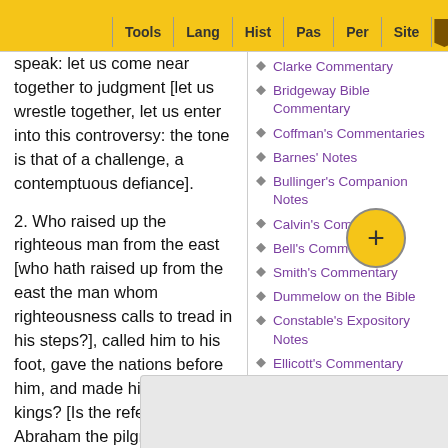Tools | Lang | Hist | Pas | Per | Site
speak: let us come near together to judgment [let us wrestle together, let us enter into this controversy: the tone is that of a challenge, a contemptuous defiance].
2. Who raised up the righteous man from the east [who hath raised up from the east the man whom righteousness calls to tread in his steps?], called him to his foot, gave the nations before him, and made him rule over kings? [Is the reference to Abraham the pilgrim, or to Cyrus the conqueror? The question is, Who m... man?]
Clarke Commentary
Bridgeway Bible Commentary
Coffman's Commentaries
Barnes' Notes
Bullinger's Companion Notes
Calvin's Commentary
Bell's Commentary
Smith's Commentary
Dummelow on the Bible
Constable's Expository Notes
Ellicott's Commentary
Expositor's Dictionary
Meyer's Commentary
Gaebelein's Annotated